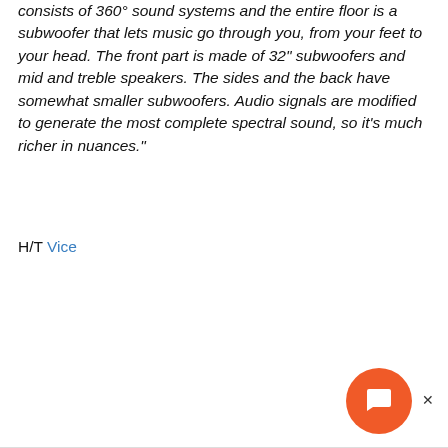consists of 360° sound systems and the entire floor is a subwoofer that lets music go through you, from your feet to your head. The front part is made of 32" subwoofers and mid and treble speakers. The sides and the back have somewhat smaller subwoofers. Audio signals are modified to generate the most complete spectral sound, so it's much richer in nuances."
H/T Vice